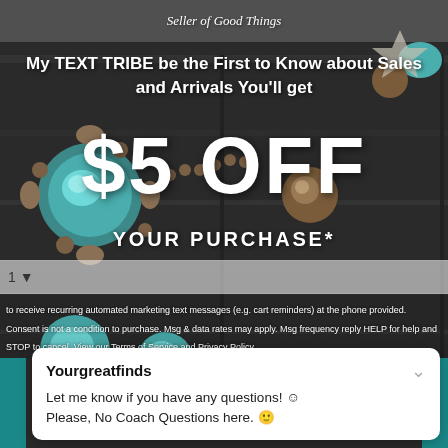Seller of Good Things
My TEXT TRIBE be the First to Know about Sales and Arrivals You'll get
$5 OFF
YOUR PURCHASE*
1
to receive recurring automated marketing text messages (e.g. cart reminders) at the phone provided. Consent is not a condition to purchase. Msg & data rates may apply. Msg frequency reply HELP for help and STOP to cancel. View our Terms of Service and Privacy Policy.
Yourgreatfinds
Let me know if you have any questions! ☺ Please, No Coach Questions here. 🙂